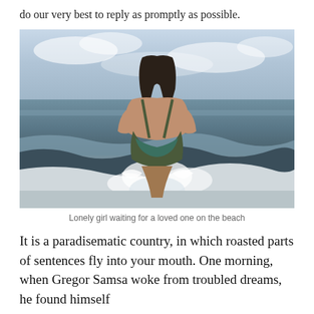do our very best to reply as promptly as possible.
[Figure (photo): A woman with long dark hair, viewed from behind, standing in ocean waves at the beach, wearing a colorful backless swimsuit. Water splashes around her legs. The sky is cloudy and the sea is calm in the distance.]
Lonely girl waiting for a loved one on the beach
It is a paradisematic country, in which roasted parts of sentences fly into your mouth. One morning, when Gregor Samsa woke from troubled dreams, he found himself